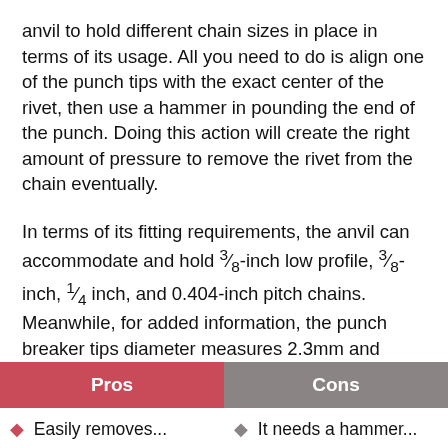anvil to hold different chain sizes in place in terms of its usage. All you need to do is align one of the punch tips with the exact center of the rivet, then use a hammer in pounding the end of the punch. Doing this action will create the right amount of pressure to remove the rivet from the chain eventually.
In terms of its fitting requirements, the anvil can accommodate and hold ⅜-inch low profile, ⅜-inch, ¼ inch, and 0.404-inch pitch chains. Meanwhile, for added information, the punch breaker tips diameter measures 2.3mm and 4.8mm.
| Pros | Cons |
| --- | --- |
| Easily removes... | It needs a hammer... |